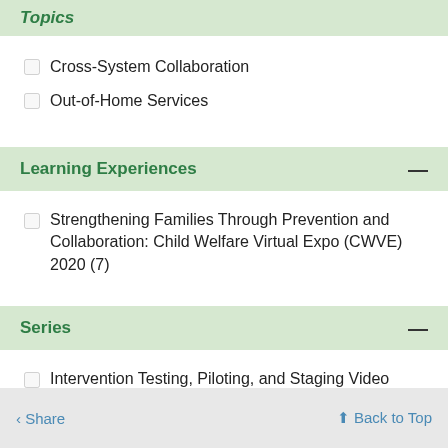Topics
Cross-System Collaboration
Out-of-Home Services
Learning Experiences
Strengthening Families Through Prevention and Collaboration: Child Welfare Virtual Expo (CWVE) 2020 (7)
Series
Intervention Testing, Piloting, and Staging Video Series (11)
Share   Back to Top